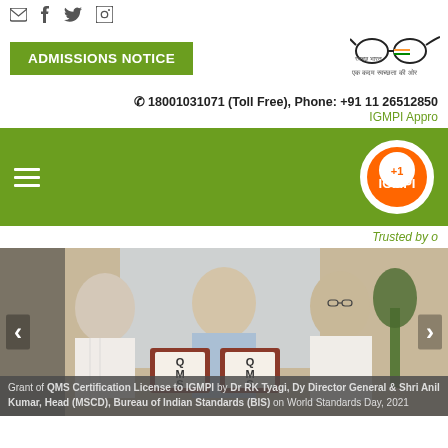Social media icons: email, facebook, twitter, linkedin
ADMISSIONS NOTICE
[Figure (logo): Swachh Bharat logo with spectacles graphic and Hindi text]
18001031071 (Toll Free), Phone: +91 11 26512850
IGMPI Appro
[Figure (logo): IGMPI logo on green navigation bar with hamburger menu]
Trusted by o
[Figure (photo): Three men holding QMS certificates in an office setting]
Grant of QMS Certification License to IGMPI by Dr RK Tyagi, Dy Director General & Shri Anil Kumar, Head (MSCD), Bureau of Indian Standards (BIS) on World Standards Day, 2021